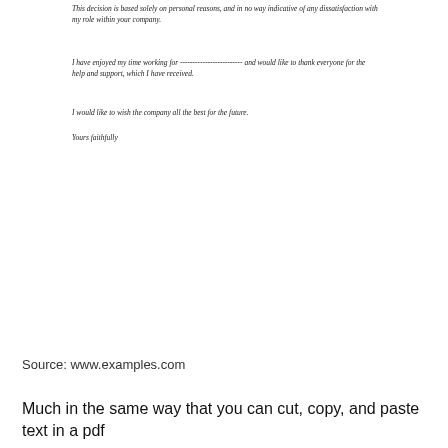This decision is based solely on personal reasons, and in no way indicative of any dissatisfaction with my role within your company.
I have enjoyed my time working for ------------------------- and would like to thank everyone for the help and support, which I have received.
I would like to wish the company all the best for the future.
Yours faithfully
Source: www.examples.com
Much in the same way that you can cut, copy, and paste text in a pdf